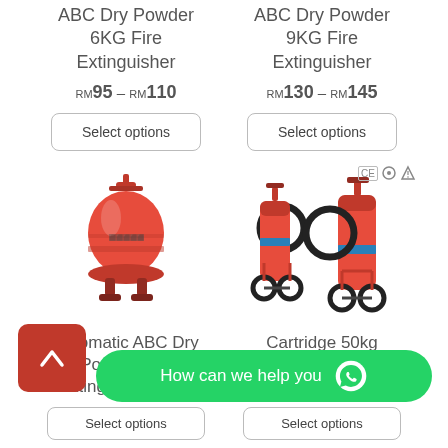ABC Dry Powder 6KG Fire Extinguisher
RM95 – RM110
Select options
ABC Dry Powder 9KG Fire Extinguisher
RM130 – RM145
Select options
[Figure (photo): Red automatic ABC dry powder fire extinguisher 12kg, ceiling mounted type with red cylinder and spray nozzle on top]
[Figure (photo): Two red trolley-mounted fire extinguishers (cartridge 50kg type) with black wheels and hose reels, with CE and other certification badges]
Automatic ABC Dry Powder Fire Extinguisher 12kg
Cartridge 50kg Trolley Dry Powder...
Select options
Select options
How can we help you